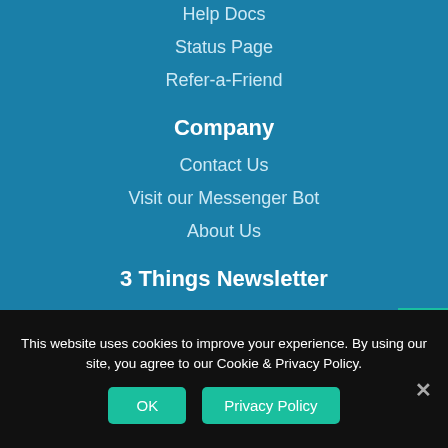Help Docs
Status Page
Refer-a-Friend
Company
Contact Us
Visit our Messenger Bot
About Us
3 Things Newsletter
A biweekly newsletter for non-techie chatbot builder.
Subscribe Now
This website uses cookies to improve your experience. By using our site, you agree to our Cookie & Privacy Policy.
OK
Privacy Policy